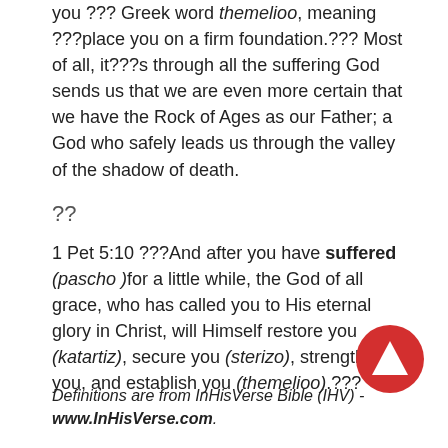you ??? Greek word themelioo, meaning ???place you on a firm foundation.??? Most of all, it???s through all the suffering God sends us that we are even more certain that we have the Rock of Ages as our Father; a God who safely leads us through the valley of the shadow of death.
??
1 Pet 5:10 ???And after you have suffered (pascho )for a little while, the God of all grace, who has called you to His eternal glory in Christ, will Himself restore you (katartiz), secure you (sterizo), strengthen you, and establish you (themelioo).???
Definitions are from InHisVerse Bible (IHV) - www.InHisVerse.com.